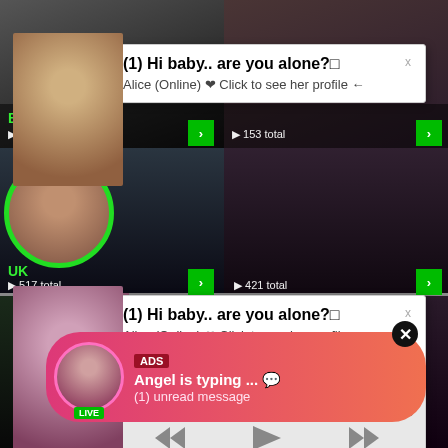[Figure (screenshot): Adult content website screenshot showing video thumbnails with category labels 'BOOBS' (1021 total) and 'UK' (517 total), overlaid with notification popups and an audio player]
(1) Hi baby.. are you alone?
Alice (Online) ❤ Click to see her profile ←
(1) Hi baby.. are you alone?
Alice (Online) ❤ Click to see her profile ←
Missed Call from Eliza
please call me back - I miss you!
0:00  3:23
BOOBS
⏵ 1021 total
⏵ 153 total
UK
⏵ 517 total
⏵ 421 total
[Figure (screenshot): Bottom ad popup with pink gradient background showing avatar with LIVE badge, ADS tag, text 'Angel is typing ... 💬' and '(1) unread message']
ADS
Angel is typing ... 💬
(1) unread message